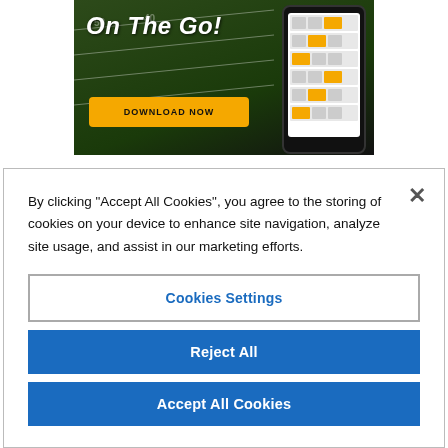[Figure (screenshot): Advertisement banner for a sports app showing 'On The Go!' text with a yellow 'DOWNLOAD NOW' button and a phone mockup on a dark football field background]
[Figure (logo): Documented Records logo showing a black circle with a stylized 'u' or lightning bolt in gold, next to bold text 'DOCUMENTED RECORDS']
By clicking “Accept All Cookies”, you agree to the storing of cookies on your device to enhance site navigation, analyze site usage, and assist in our marketing efforts.
Cookies Settings
Reject All
Accept All Cookies